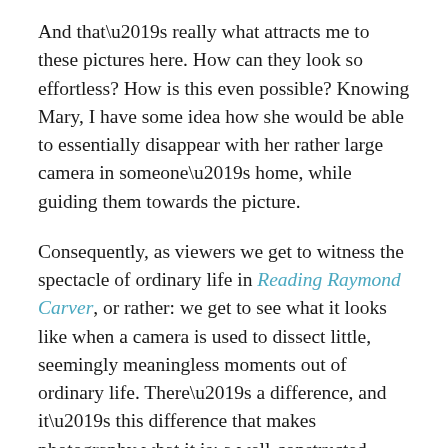And that’s really what attracts me to these pictures here. How can they look so effortless? How is this even possible? Knowing Mary, I have some idea how she would be able to essentially disappear with her rather large camera in someone’s home, while guiding them towards the picture.
Consequently, as viewers we get to witness the spectacle of ordinary life in Reading Raymond Carver, or rather: we get to see what it looks like when a camera is used to dissect little, seemingly meaningless moments out of ordinary life. There’s a difference, and it’s this difference that makes photography what it is: a well-constructed fiction that works best when it manages to convince us that it’s not that.
Being able to see Mary’s pictures and to add them to the canon — where, I believe, they ought to be placed